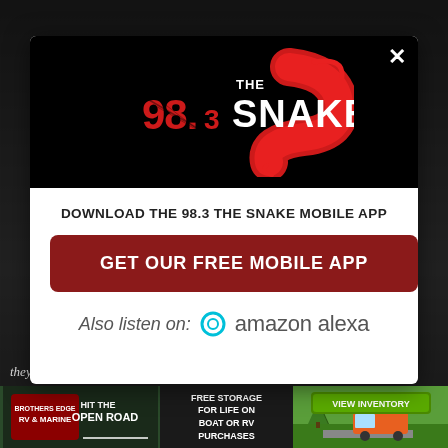[Figure (logo): 98.3 The Snake radio station logo — white and red grunge text on black background]
DOWNLOAD THE 98.3 THE SNAKE MOBILE APP
GET OUR FREE MOBILE APP
Also listen on:  amazon alexa
they have. It is so not cool to go around and ruin it for, run...
[Figure (photo): Bottom advertisement banner: RV & Marine dealer ad with 'Hit the Open Road', free storage offer, and green landscape with RV]